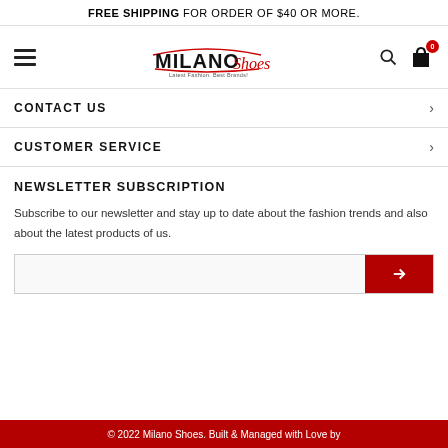FREE SHIPPING FOR ORDER OF $40 OR MORE.
[Figure (logo): Milano Shoes logo with tagline 'Latest Fashion. Best Brands!']
CONTACT US
CUSTOMER SERVICE
NEWSLETTER SUBSCRIPTION
Subscribe to our newsletter and stay up to date about the fashion trends and also about the latest products of us.
© 2022 Milano Shoes. Built & Managed with Love by